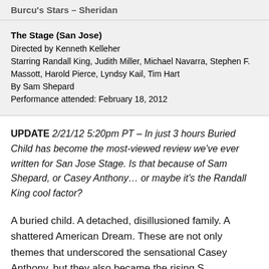Burcu's Stars – Sheridan
The Stage (San Jose)
Directed by Kenneth Kelleher
Starring Randall King, Judith Miller, Michael Navarra, Stephen F. Massott, Harold Pierce, Lyndsy Kail, Tim Hart
By Sam Shepard
Performance attended: February 18, 2012
UPDATE 2/21/12 5:20pm PT – In just 3 hours Buried Child has become the most-viewed review we've ever written for San Jose Stage. Is that because of Sam Shepard, or Casey Anthony… or maybe it's the Randall King cool factor?
A buried child. A detached, disillusioned family. A shattered American Dream. These are not only themes that underscored the sensational Casey Anthony, but they also became the rising S...